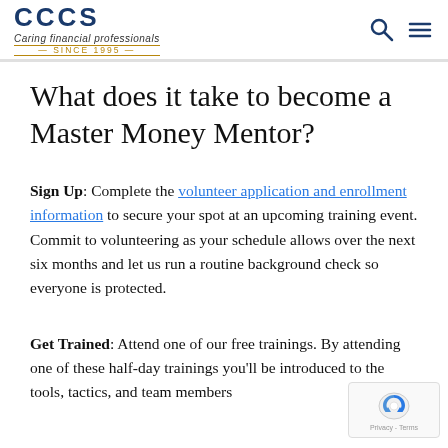CCCS Caring financial professionals SINCE 1995
What does it take to become a Master Money Mentor?
Sign Up: Complete the volunteer application and enrollment information to secure your spot at an upcoming training event. Commit to volunteering as your schedule allows over the next six months and let us run a routine background check so everyone is protected.
Get Trained: Attend one of our free trainings. By attending one of these half-day trainings you'll be introduced to the tools, tactics, and team members